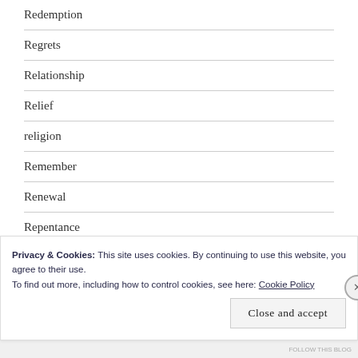Redemption
Regrets
Relationship
Relief
religion
Remember
Renewal
Repentance
Resolve
Privacy & Cookies: This site uses cookies. By continuing to use this website, you agree to their use.
To find out more, including how to control cookies, see here: Cookie Policy